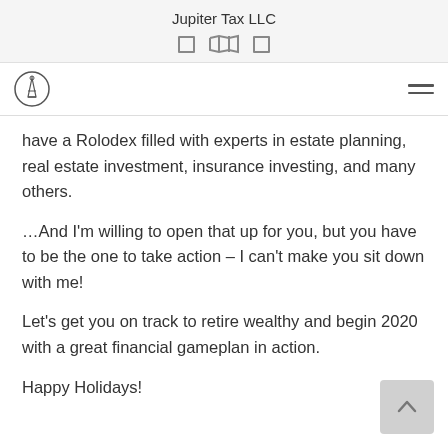Jupiter Tax LLC
have a Rolodex filled with experts in estate planning, real estate investment, insurance investing, and many others.
…And I'm willing to open that up for you, but you have to be the one to take action – I can't make you sit down with me!
Let's get you on track to retire wealthy and begin 2020 with a great financial gameplan in action.
Happy Holidays!